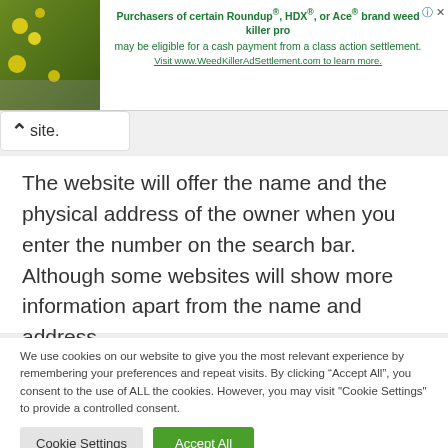[Figure (other): Advertisement banner for WeedKillerAdSettlement.com with green plant/flower photo on left and text about Roundup, HDX, or Ace brand weed killer class action settlement. Includes close (X) and info (i) icons.]
site.
The website will offer the name and the physical address of the owner when you enter the number on the search bar. Although some websites will show more information apart from the name and address.
We use cookies on our website to give you the most relevant experience by remembering your preferences and repeat visits. By clicking “Accept All”, you consent to the use of ALL the cookies. However, you may visit "Cookie Settings" to provide a controlled consent.
Cookie Settings
Accept All